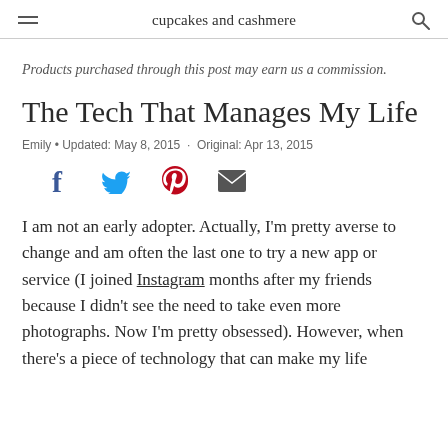cupcakes and cashmere
Products purchased through this post may earn us a commission.
The Tech That Manages My Life
Emily • Updated: May 8, 2015 · Original: Apr 13, 2015
[Figure (infographic): Social sharing icons: Facebook (blue), Twitter (blue bird), Pinterest (red P), Email (envelope)]
I am not an early adopter. Actually, I'm pretty averse to change and am often the last one to try a new app or service (I joined Instagram months after my friends because I didn't see the need to take even more photographs. Now I'm pretty obsessed). However, when there's a piece of technology that can make my life